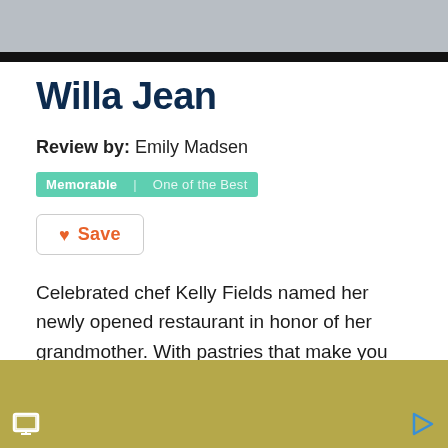[Figure (photo): Top portion of a food/restaurant photo with a dark bar at the bottom edge]
Willa Jean
Review by: Emily Madsen
Memorable | One of the Best
Save
Celebrated chef Kelly Fields named her newly opened restaurant in honor of her grandmother. With pastries that make you drool right as you step in the door and an interior that has southern charm with a modern twist, it is appealing in every way. When we visited on a Saturday morning, the wait for a seat was so long that we weren't
[Figure (other): Gold/tan advertisement banner at bottom of page with icons on left and right]